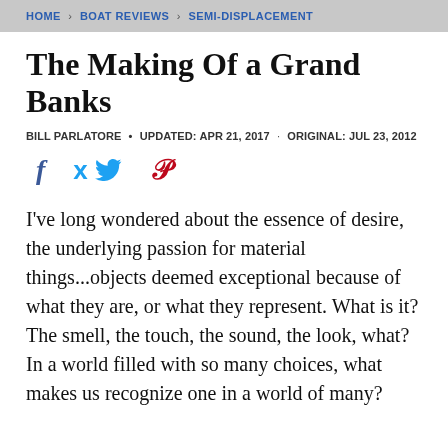HOME > BOAT REVIEWS > SEMI-DISPLACEMENT
The Making Of a Grand Banks
BILL PARLATORE • UPDATED: APR 21, 2017 · ORIGINAL: JUL 23, 2012
[Figure (other): Social share icons: Facebook (f), Twitter (bird), Pinterest (P)]
I've long wondered about the essence of desire, the underlying passion for material things...objects deemed exceptional because of what they are, or what they represent. What is it? The smell, the touch, the sound, the look, what? In a world filled with so many choices, what makes us recognize one in a world of many?